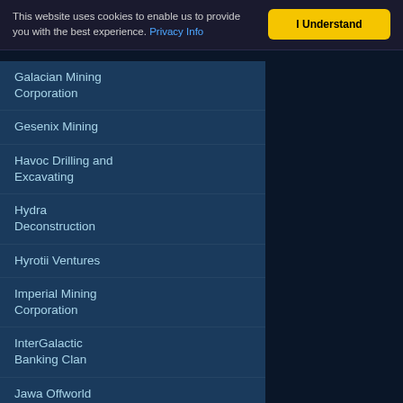This website uses cookies to enable us to provide you with the best experience. Privacy Info
Galacian Mining Corporation
Gesenix Mining
Havoc Drilling and Excavating
Hydra Deconstruction
Hyrotii Ventures
Imperial Mining Corporation
InterGalactic Banking Clan
Jawa Offworld Enterprises
JUGANOTH Mining Corporation
Kerdos Company
Knights of the Fountain
Kobola
Kolohe Mining Group MK2